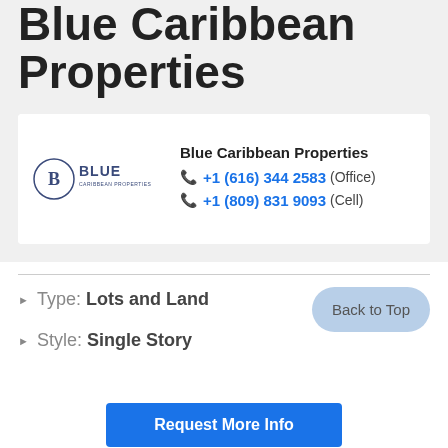Blue Caribbean Properties
[Figure (logo): Blue Caribbean Properties logo — circular B emblem with BLUE CARIBBEAN PROPERTIES text]
Blue Caribbean Properties
+1 (616) 344 2583 (Office)
+1 (809) 831 9093 (Cell)
Type: Lots and Land
Style: Single Story
Back to Top
Request More Info